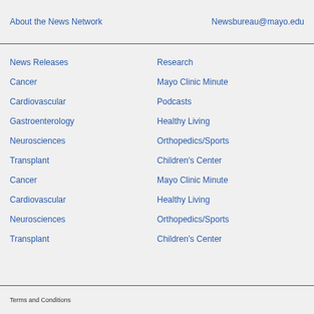About the News Network    Newsbureau@mayo.edu
News Releases
Cancer
Cardiovascular
Gastroenterology
Neurosciences
Transplant
Cancer
Cardiovascular
Neurosciences
Transplant
Research
Mayo Clinic Minute
Podcasts
Healthy Living
Orthopedics/Sports
Children's Center
Mayo Clinic Minute
Healthy Living
Orthopedics/Sports
Children's Center
Terms and Conditions